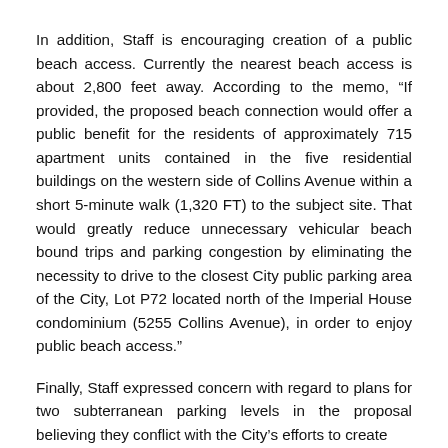In addition, Staff is encouraging creation of a public beach access. Currently the nearest beach access is about 2,800 feet away. According to the memo, “If provided, the proposed beach connection would offer a public benefit for the residents of approximately 715 apartment units contained in the five residential buildings on the western side of Collins Avenue within a short 5-minute walk (1,320 FT) to the subject site. That would greatly reduce unnecessary vehicular beach bound trips and parking congestion by eliminating the necessity to drive to the closest City public parking area of the City, Lot P72 located north of the Imperial House condominium (5255 Collins Avenue), in order to enjoy public beach access.”
Finally, Staff expressed concern with regard to plans for two subterranean parking levels in the proposal believing they conflict with the City’s efforts to create